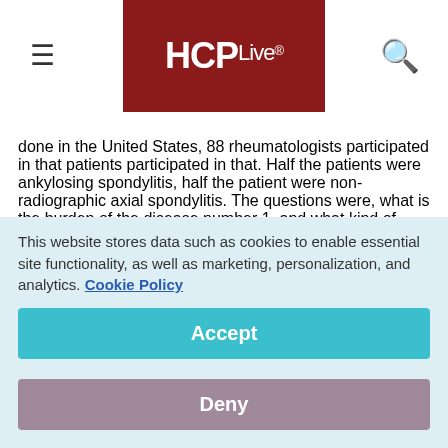HCPLive®
done in the United States, 88 rheumatologists participated in that patients participated in that. Half the patients were ankylosing spondylitis, half the patient were non-radiographic axial spondylitis. The questions were, what is the burden of the disease number 1, and what kind of medications do these patients receive?
This website stores data such as cookies to enable essential site functionality, as well as marketing, personalization, and analytics. Cookie Policy
Accept
Deny